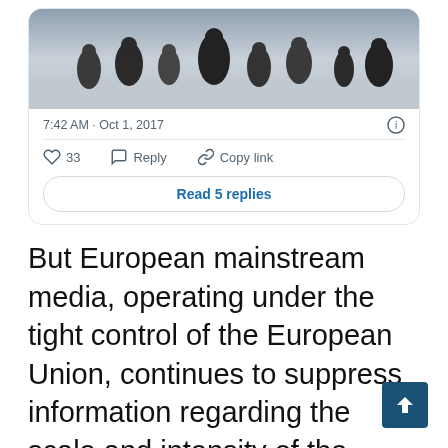[Figure (screenshot): Screenshot of a Twitter/X post showing a video thumbnail of a crowd scene, timestamp 7:42 AM · Oct 1, 2017, with like (33), Reply, and Copy link actions, and a 'Read 5 replies' button.]
But European mainstream media, operating under the tight control of the European Union, continues to suppress information regarding the scale and intensity of the revolution taking place on Catalonian streets.
Taking moves straight from the pages of the